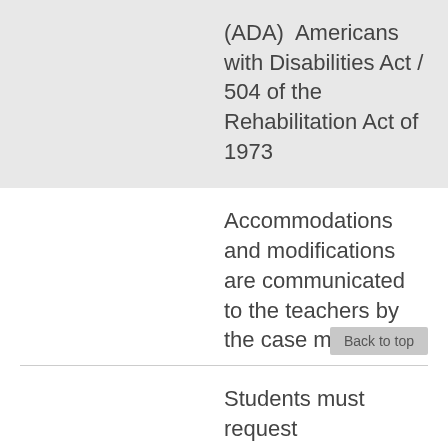(ADA)  Americans with Disabilities Act / 504 of the Rehabilitation Act of 1973
Accommodations and modifications are communicated to the teachers by the case manager.
Back to top
Students must request accommodations and provide professional documentation.